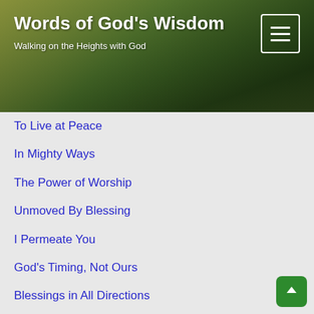Words of God's Wisdom
Walking on the Heights with God
To Live at Peace
In Mighty Ways
The Power of Worship
Unmoved By Blessing
I Permeate You
God's Timing, Not Ours
Blessings in All Directions
I Have Overcome the World
Standing in My Assurance
Proclaim, Proclaim, Proclaim
I Bring Forth
In My Way and My Time
At the Appointed Time